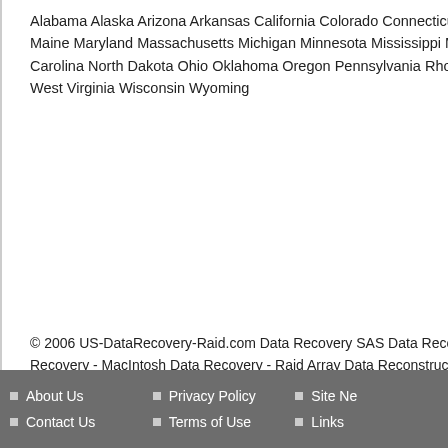Alabama Alaska Arizona Arkansas California Colorado Connecticut Delav Maine Maryland Massachusetts Michigan Minnesota Mississippi Missour Carolina North Dakota Ohio Oklahoma Oregon Pennsylvania Rhode Islan West Virginia Wisconsin Wyoming
© 2006 US-DataRecovery-Raid.com Data Recovery SAS Data Recovery Recovery - MacIntosh Data Recovery - Raid Array Data Reconstruction -
• Location: Pueblo
Email this ad
About Us
Contact Us
Privacy Policy
Terms of Use
Site Ne
Links